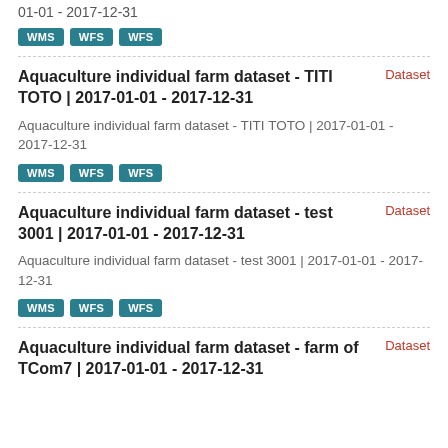01-01 - 2017-12-31
WMS WFS WFS
Dataset
Aquaculture individual farm dataset - TITI TOTO | 2017-01-01 - 2017-12-31
Aquaculture individual farm dataset - TITI TOTO | 2017-01-01 - 2017-12-31
WMS WFS WFS
Dataset
Aquaculture individual farm dataset - test 3001 | 2017-01-01 - 2017-12-31
Aquaculture individual farm dataset - test 3001 | 2017-01-01 - 2017-12-31
WMS WFS WFS
Dataset
Aquaculture individual farm dataset - farm of TCom7 | 2017-01-01 - 2017-12-31